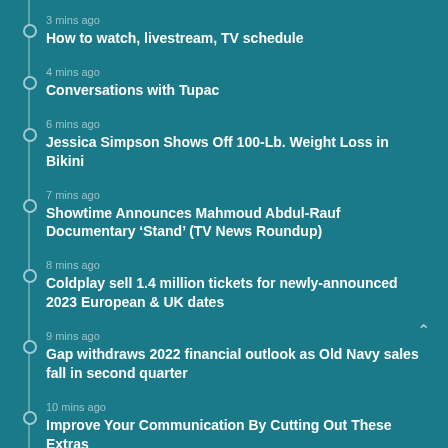3 mins ago
How to watch, livestream, TV schedule
4 mins ago
Conversations with Tupac
6 mins ago
Jessica Simpson Shows Off 100-Lb. Weight Loss in Bikini
7 mins ago
Showtime Announces Mahmoud Abdul-Rauf Documentary ‘Stand’ (TV News Roundup)
8 mins ago
Coldplay sell 1.4 million tickets for newly-announced 2023 European & UK dates
9 mins ago
Gap withdraws 2022 financial outlook as Old Navy sales fall in second quarter
10 mins ago
Improve Your Communication By Cutting Out These Extras